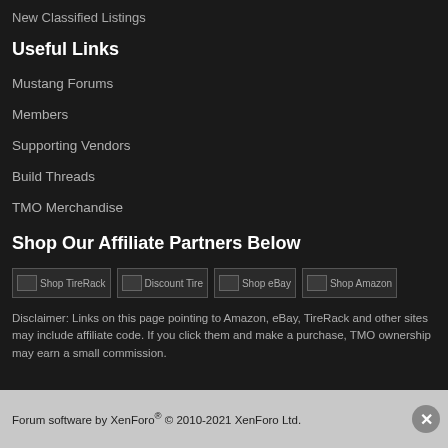New Classified Listings
Useful Links
Mustang Forums
Members
Supporting Vendors
Build Threads
TMO Merchandise
Shop Our Affiliate Partners Below
[Figure (other): Four affiliate partner image placeholders: Shop TireRack, Discount Tire, Shop eBay, Shop Amazon]
Disclaimer: Links on this page pointing to Amazon, eBay, TireRack and other sites may include affiliate code. If you click them and make a purchase, TMO ownership may earn a small commission.
Forum software by XenForo® © 2010-2021 XenForo Ltd.